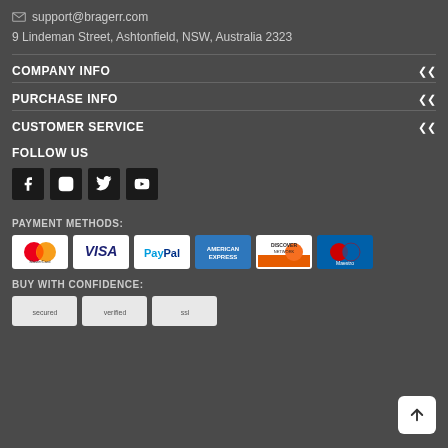✉ support@bragerr.com
9 Lindeman Street, Ashtonfield, NSW, Australia 2323
COMPANY INFO
PURCHASE INFO
CUSTOMER SERVICE
FOLLOW US
[Figure (other): Social media icons: Facebook, Instagram, Twitter, YouTube]
PAYMENT METHODS:
[Figure (other): Payment method logos: MasterCard, Visa, PayPal, American Express, Discover Network, Maestro]
BUY WITH CONFIDENCE:
[Figure (other): Trust/security badge icons (partially visible)]